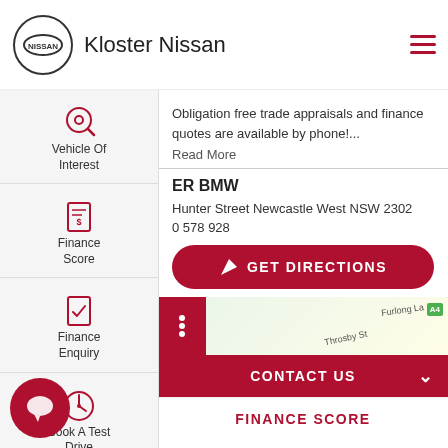Kloster Nissan
Obligation free trade appraisals and finance quotes are available by phone!...
Read More
ER BMW
Hunter Street Newcastle West NSW 2302
0 578 928
[Figure (screenshot): GET DIRECTIONS button (dark red/crimson rounded button with arrow icon) above a partial map showing Throsby St and Furlong La labels]
CONTACT US
FINANCE SCORE